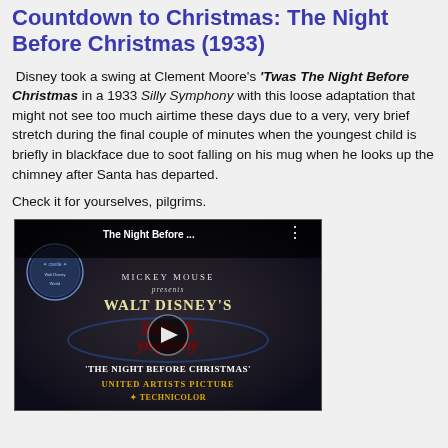Countdown to Christmas: The Night Before Christmas (1933)
Disney took a swing at Clement Moore's 'Twas The Night Before Christmas in a 1933 Silly Symphony with this loose adaptation that might not see too much airtime these days due to a very, very brief stretch during the final couple of minutes when the youngest child is briefly in blackface due to soot falling on his mug when he looks up the chimney after Santa has departed.
Check it for yourselves, pilgrims.
[Figure (screenshot): YouTube video thumbnail for 'The Night Before Christmas' Walt Disney's Silly Symphony, showing the title card with Mickey Mouse presents, Silly Symphony text, and 'The Night Before Christmas' United Artists Picture in Technicolor, with a play button overlay]